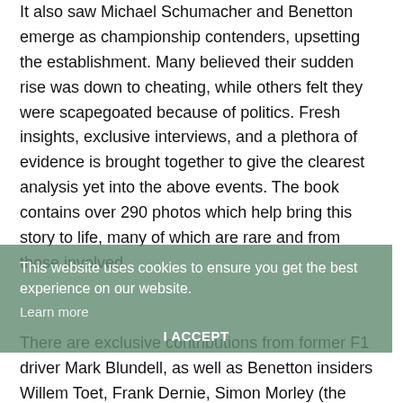It also saw Michael Schumacher and Benetton emerge as championship contenders, upsetting the establishment. Many believed their sudden rise was down to cheating, while others felt they were scapegoated because of politics. Fresh insights, exclusive interviews, and a plethora of evidence is brought together to give the clearest analysis yet into the above events. The book contains over 290 photos which help bring this story to life, many of which are rare and from those involved.
This website uses cookies to ensure you get the best experience on our website.
Learn more
I ACCEPT
There are exclusive contributions from former F1 driver Mark Blundell, as well as Benetton insiders Willem Toet, Frank Dernie, Simon Morley (the 'junior